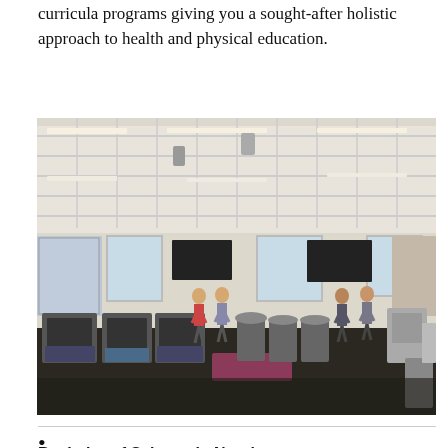curricula programs giving you a sought-after holistic approach to health and physical education.
[Figure (photo): Interior of a fitness/exercise science lab with treadmills, stationary bikes, and other gym equipment. Students and instructors are visible using the equipment. Large windows let in natural light. Fluorescent lights hang from a white latticed ceiling. Posters and TVs are mounted on the walls.]
Bachelor of Science in Nursing
Nu...